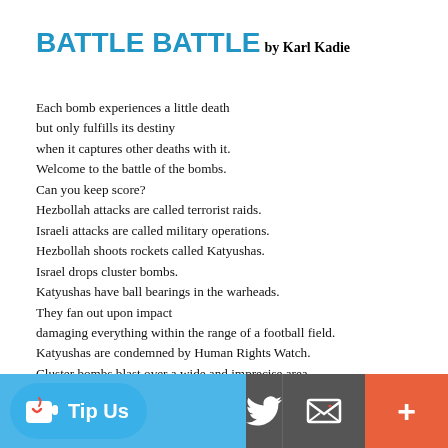BATTLE BATTLE
by Karl Kadie
Each bomb experiences a little death
but only fulfills its destiny
when it captures other deaths with it.
Welcome to the battle of the bombs.
Can you keep score?
Hezbollah attacks are called terrorist raids.
Israeli attacks are called military operations.
Hezbollah shoots rockets called Katyushas.
Israel drops cluster bombs.
Katyushas have ball bearings in the warheads.
They fan out upon impact
damaging everything within the range of a football field.
Katyushas are condemned by Human Rights Watch.
Cluster bombs blast over a wide and imprecise area.
They spread hundreds of bomblets -
...become